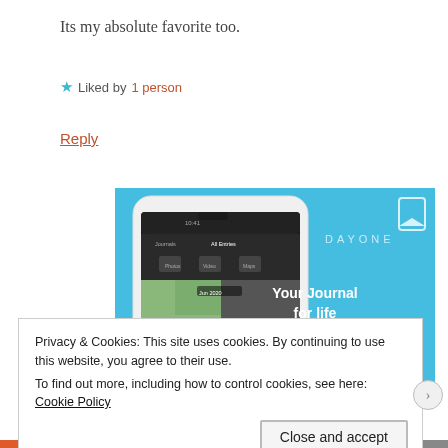Its my absolute favorite too.
★ Liked by 1 person
Reply
[Figure (screenshot): DayOne app advertisement showing a smartphone with the app open displaying photo journal entries. Blue background with text 'DAYONE', 'Your Journal for life', and a 'Get the app' button. A bookmark icon appears at top right.]
Privacy & Cookies: This site uses cookies. By continuing to use this website, you agree to their use.
To find out more, including how to control cookies, see here: Cookie Policy
Close and accept